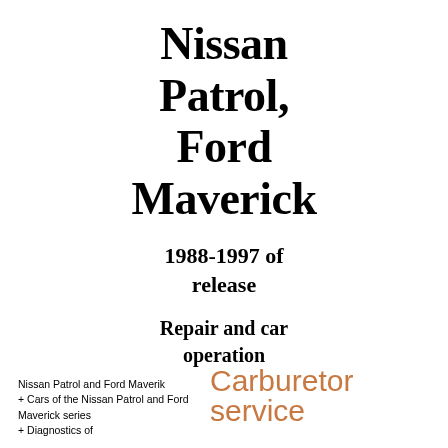Nissan Patrol, Ford Maverick
1988-1997 of release
Repair and car operation
Nissan Patrol and Ford Maverik
+ Cars of the Nissan Patrol and Ford Maverick series
+ Diagnostics of
Carburetor service